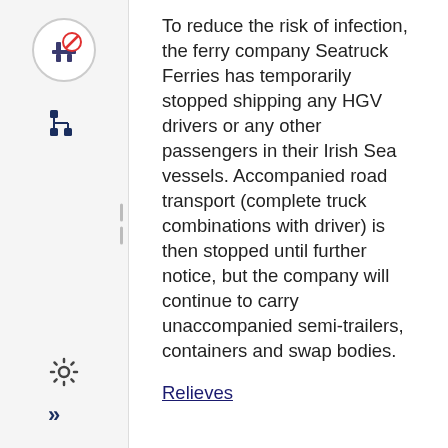[Figure (illustration): Circular icon with a red prohibition sign over a table/seating symbol, bordered by a thin circle. Located in the top of the left sidebar.]
[Figure (illustration): Dark blue tree/hierarchy structure icon in the left sidebar.]
[Figure (illustration): Settings gear icon at the bottom of the left sidebar.]
[Figure (illustration): Double right-arrow (chevron) navigation icon at the bottom of the left sidebar.]
To reduce the risk of infection, the ferry company Seatruck Ferries has temporarily stopped shipping any HGV drivers or any other passengers in their Irish Sea vessels. Accompanied road transport (complete truck combinations with driver) is then stopped until further notice, but the company will continue to carry unaccompanied semi-trailers, containers and swap bodies.
Relieves